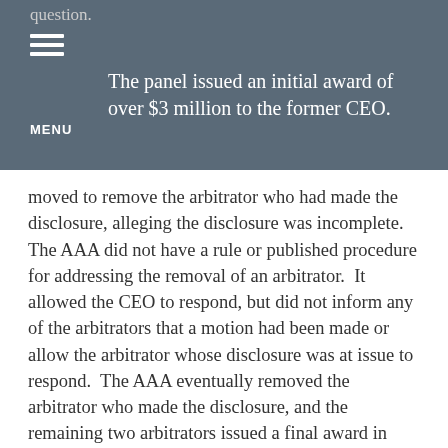The panel issued an initial award of over $3 million to the former CEO.
moved to remove the arbitrator who had made the disclosure, alleging the disclosure was incomplete. The AAA did not have a rule or published procedure for addressing the removal of an arbitrator. It allowed the CEO to respond, but did not inform any of the arbitrators that a motion had been made or allow the arbitrator whose disclosure was at issue to respond. The AAA eventually removed the arbitrator who made the disclosure, and the remaining two arbitrators issued a final award in favor of the CEO.
The company moved to vacate the award, and a state court trial judge granted the motion. At that point, the CEO and the AAA in Minnesota state...